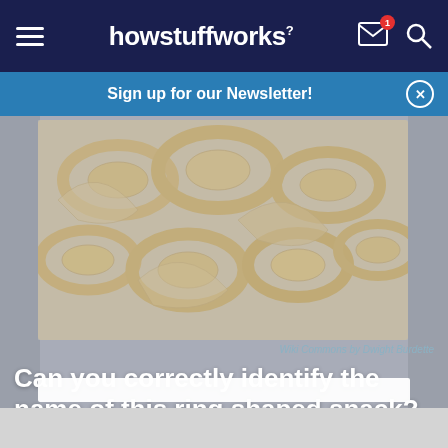howstuffworks
Sign up for our Newsletter!
[Figure (photo): Close-up photo of ring-shaped snack foods, pale/cream colored, coiled and stacked in a container, with a bluish/grayish tint overlay]
Wiki Commons by Dwight Burdette
Can you correctly identify the name of this ring shaped snack?